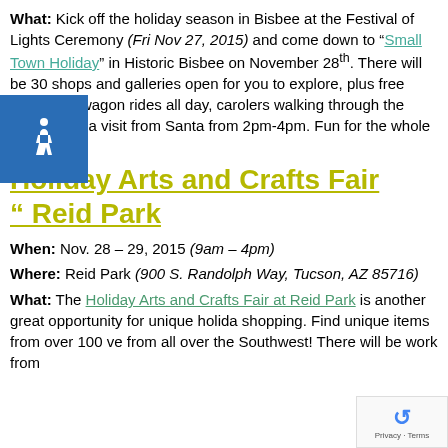What: Kick off the holiday season in Bisbee at the Festival of Lights Ceremony (Fri Nov 27, 2015) and come down to “Small Town Holiday” in Historic Bisbee on November 28th. There will be 30 shops and galleries open for you to explore, plus free horse and wagon rides all day, carolers walking through the streets and a visit from Santa from 2pm-4pm. Fun for the whole family!
Holiday Arts and Crafts Fair “" Reid Park
When: Nov. 28 – 29, 2015 (9am – 4pm)
Where: Reid Park (900 S. Randolph Way, Tucson, AZ 85716)
What: The Holiday Arts and Crafts Fair at Reid Park is another great opportunity for unique holiday shopping. Find unique items from over 100 vendors from all over the Southwest! There will be work from